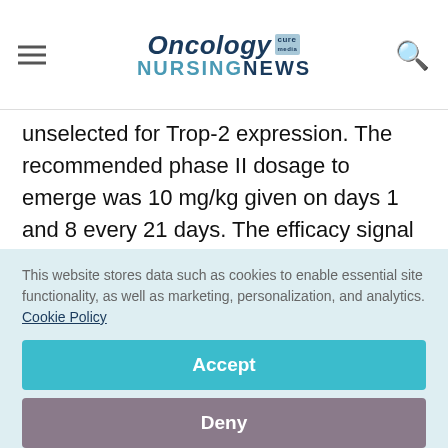Oncology Nursing News
unselected for Trop-2 expression. The recommended phase II dosage to emerge was 10 mg/kg given on days 1 and 8 every 21 days. The efficacy signal appeared promising in the subset of patients with advanced urothelial carcinoma.
This website stores data such as cookies to enable essential site functionality, as well as marketing, personalization, and analytics. Cookie Policy
Accept
Deny